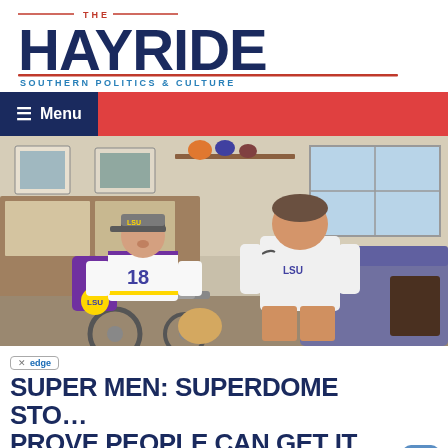[Figure (logo): The Hayride logo - 'THE' in small red text above large dark blue bold 'HAYRIDE' text with red underline, tagline 'SOUTHERN POLITICS & CULTURE' in blue below]
[Figure (other): Red navigation bar with dark blue 'Menu' button with hamburger icon on the left]
[Figure (photo): A young boy in a wheelchair wearing an LSU football jersey number 18 and a baseball cap, smiling and looking up, with a man in a white LSU polo shirt sitting beside him in what appears to be an office with sports memorabilia on shelves]
SUPER MEN: Superdome Sto… Prove People Can Get it Righ…